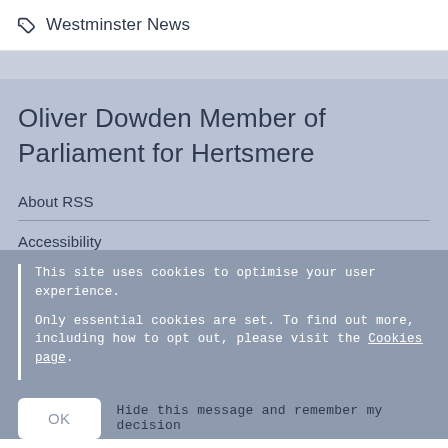Westminster News
Oliver Dowden Member of Parliament for Hertsmere
About RSS
Accessibility
This site uses cookies to optimise your user experience.
Only essential cookies are set. To find out more, including how to opt out, please visit the Cookies page.
OK  Hide this message and remember my decision